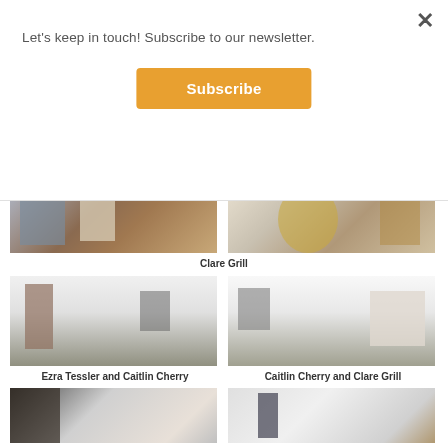Let's keep in touch! Subscribe to our newsletter.
Subscribe
[Figure (photo): Gallery installation view showing artworks on white walls with wooden floor]
[Figure (photo): Gallery installation view showing artworks on white walls including yellow and brown pieces]
Clare Grill
[Figure (photo): Gallery installation view showing framed artworks on white walls with dark floor]
[Figure (photo): Gallery installation view with framed artworks and a bench]
Ezra Tessler and Caitlin Cherry
Caitlin Cherry and Clare Grill
[Figure (photo): Gallery installation view with light walls and artwork]
[Figure (photo): Gallery installation view with white walls and artwork]